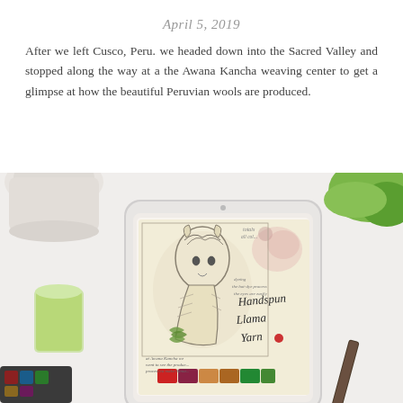April 5, 2019
After we left Cusco, Peru. we headed down into the Sacred Valley and stopped along the way at a the Awana Kancha weaving center to get a glimpse at how the beautiful Peruvian wools are produced.
[Figure (photo): Tablet device showing a hand-drawn illustration of a llama with the text 'Handspun Llama Yarn' and watercolor paint swatches, surrounded by art supplies including a cup of green tea, a mug, a pencil, and watercolor paints on a white desk surface.]